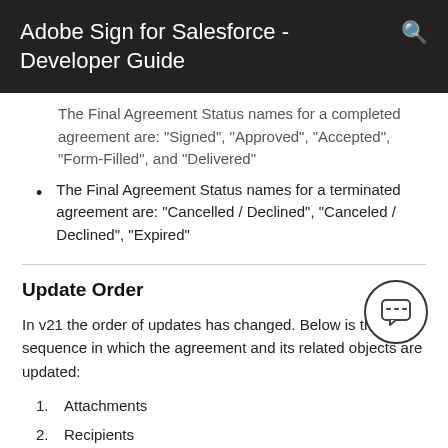Adobe Sign for Salesforce - Developer Guide
The Final Agreement Status names for a completed agreement are: "Signed", "Approved", "Accepted", "Form-Filled", and "Delivered"
The Final Agreement Status names for a terminated agreement are: "Cancelled / Declined", "Canceled / Declined", "Expired"
Update Order
In v21 the order of updates has changed. Below is the sequence in which the agreement and its related objects are updated:
1. Attachments
2. Recipients
3. Agreement (status and its other attributes)
4. Agreement Events
5. Chatter Feeds